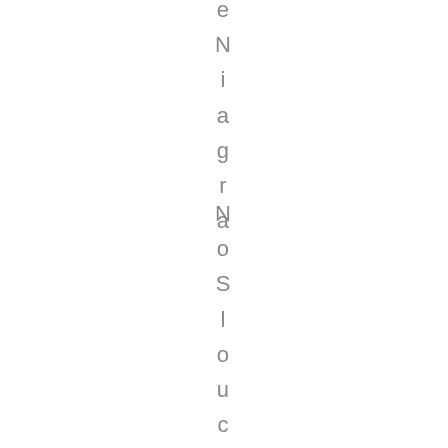e Niagra  NoSlouchRapi
NoSlouchRapi